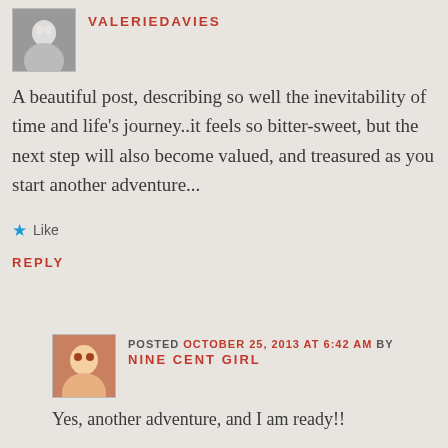VALERIEDAVIES
A beautiful post, describing so well the inevitability of time and life’s journey..it feels so bitter-sweet, but the next step will also become valued, and treasured as you start another adventure...
★ Like
REPLY
POSTED OCTOBER 25, 2013 AT 6:42 AM BY NINE CENT GIRL
Yes, another adventure, and I am ready!!
★ Like